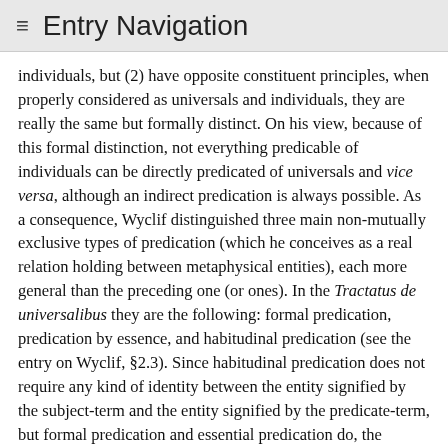≡ Entry Navigation
individuals, but (2) have opposite constituent principles, when properly considered as universals and individuals, they are really the same but formally distinct. On his view, because of this formal distinction, not everything predicable of individuals can be directly predicated of universals and vice versa, although an indirect predication is always possible. As a consequence, Wyclif distinguished three main non-mutually exclusive types of predication (which he conceives as a real relation holding between metaphysical entities), each more general than the preceding one (or ones). In the Tractatus de universalibus they are the following: formal predication, predication by essence, and habitudinal predication (see the entry on Wyclif, §2.3). Since habitudinal predication does not require any kind of identity between the entity signified by the subject-term and the entity signified by the predicate-term, but formal predication and essential predication do, the ontological presuppositions of the most general type of predication, implied by the other types, are completely different from those of the other